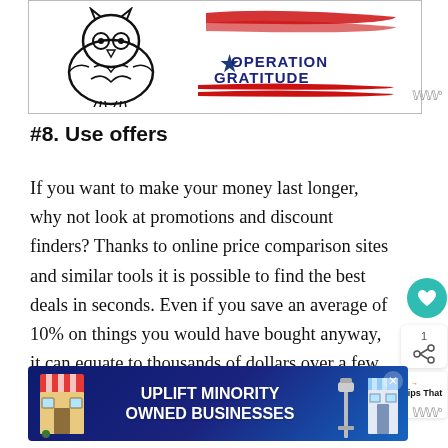[Figure (illustration): Operation Gratitude advertisement banner with an owl illustration on the left and the Operation Gratitude logo (star, red/white stripes, bold text) on the right, inside a bordered rectangle.]
#8. Use offers
If you want to make your money last longer, why not look at promotions and discount finders? Thanks to online price comparison sites and similar tools it is possible to find the best deals in seconds. Even if you save an average of 10% on things you would have bought anyway, it can equate to thousands of dollars over a few years.
[Figure (illustration): Uplift Minority Owned Businesses advertisement banner with dark blue background, storefront illustration on left, lamp post icon, bold white text in center, and close (X) button.]